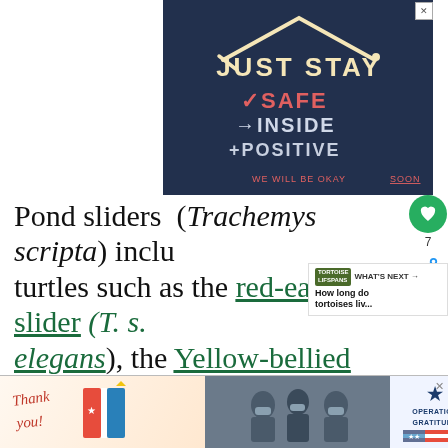[Figure (illustration): Dark navy blue advertisement banner with hand-drawn style text reading 'JUST STAY' with a house/arrow graphic at top, then 'checkmark SAFE', 'arrow INSIDE', 'plus POSITIVE' in white and red lettering, and 'WE WILL BE OKAY SOON' at the bottom in small red text with 'SOON' underlined.]
Pond sliders (Trachemys scripta) include turtles such as the red-eared slider (T. s. elegans), the Yellow-bellied slider (T. s. scripta), and the Cumberland slider(T. s. troostii).
[Figure (infographic): What's Next widget showing Tortoise Lifespans article preview: 'How long do tortoises liv...']
[Figure (illustration): Bottom advertisement banner: 'Thank you!' handwritten note on left, military personnel photo in center, Operation Gratitude logo on right.]